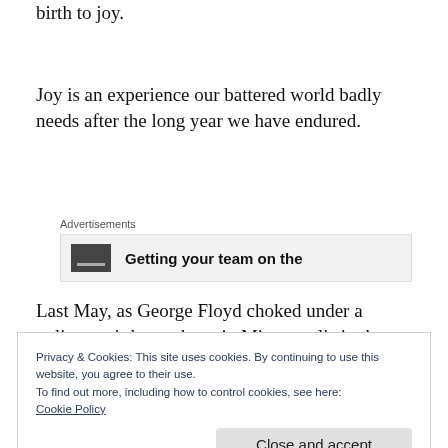We celebrate God's labour of love that gave birth to joy.
Joy is an experience our battered world badly needs after the long year we have endured.
[Figure (other): Advertisement banner showing 'Getting your team on the' with a dark logo/image on the left side, on a light grey background.]
Last May, as George Floyd choked under a policeman's heavy knee in Minneapolis in the
Privacy & Cookies: This site uses cookies. By continuing to use this website, you agree to their use.
To find out more, including how to control cookies, see here:
Cookie Policy
Close and accept
It describes the experience of those flattened